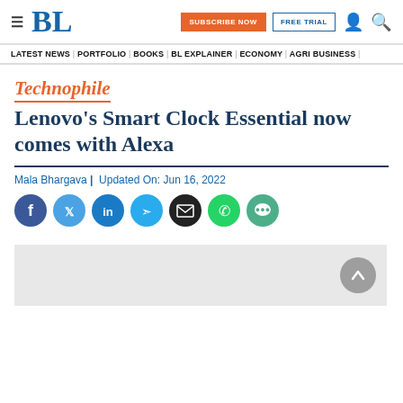BL | SUBSCRIBE NOW | FREE TRIAL
LATEST NEWS | PORTFOLIO | BOOKS | BL EXPLAINER | ECONOMY | AGRI BUSINESS |
Technophile
Lenovo’s Smart Clock Essential now comes with Alexa
Mala Bhargava |  Updated On: Jun 16, 2022
[Figure (infographic): Social media share icons: Facebook, Twitter, LinkedIn, Telegram, Email, WhatsApp, Comment]
[Figure (other): Gray advertisement placeholder box with back-to-top button]